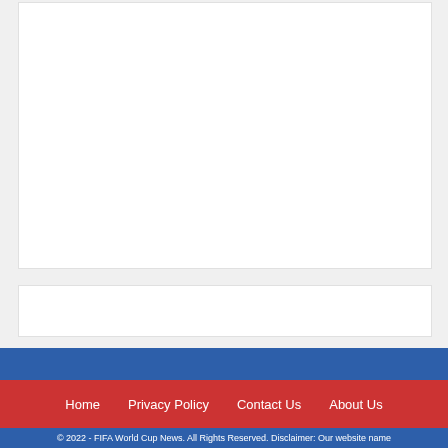[Figure (other): White content box area (top main content region)]
[Figure (other): White content box area (bottom secondary content region)]
Home  Privacy Policy  Contact Us  About Us
© 2022 - FIFA World Cup News. All Rights Reserved. Disclaimer: Our website name